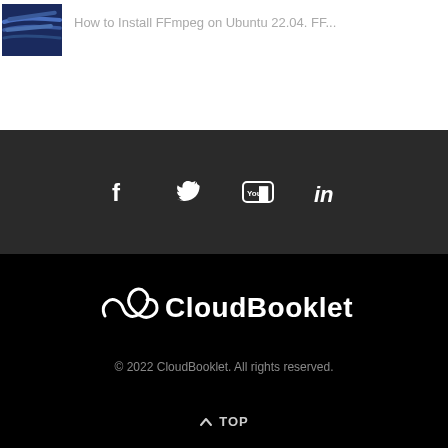[Figure (screenshot): Thumbnail image showing dark blue cable/rope photo]
How to Install FFmpeg on Ubuntu 22.04. FF...
[Figure (infographic): Social media icons bar: Facebook, Twitter, YouTube, LinkedIn on dark gray background]
[Figure (logo): CloudBooklet logo with cloud/infinity symbol and text]
© 2022 CloudBooklet. All rights reserved.
^ TOP